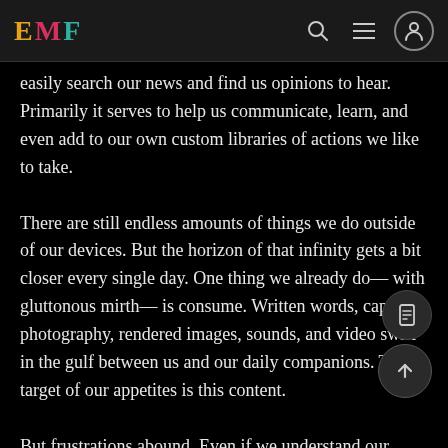EMF
easily search our news and find us opinions to hear. Primarily it serves to help us communicate, learn, and even add to our own custom libraries of actions we like to take.
There are still endless amounts of things we do outside of our devices. But the horizon of that infinity gets a bit closer every single day. One thing we already do— with gluttonous mirth— is consume. Written words, captured photography, rendered images, sounds, and video swirl in the gulf between us and our daily companions. The target of our appetites is this content.
But frustrations abound. Even if we understand our devices and have cultivated that relationship, we are bound to encounter frustrations. And internet, misguided